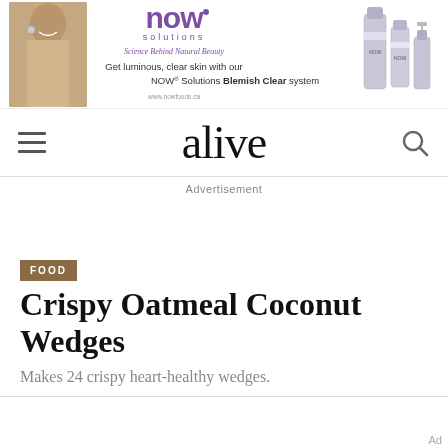[Figure (advertisement): NOW Solutions Blemish Clear system ad with woman's photo, NOW logo in purple, tagline 'Science Behind Natural Beauty', text 'Get luminous, clear skin with our NOW Solutions Blemish Clear system', and product bottles on right]
alive
Advertisement
FOOD
Crispy Oatmeal Coconut Wedges
Makes 24 crispy heart-healthy wedges.